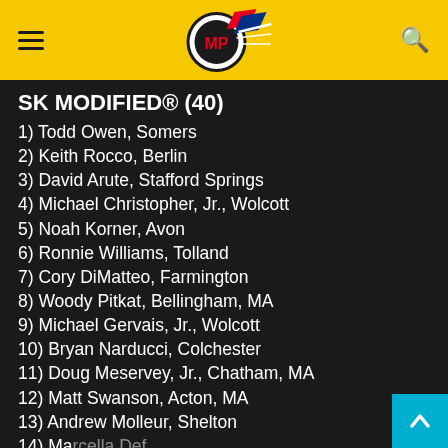SK MODIFIED® results list with hamburger menu and search icon
SK MODIFIED® (40)
1) Todd Owen, Somers
2) Keith Rocco, Berlin
3) David Arute, Stafford Springs
4) Michael Christopher, Jr., Wolcott
5) Noah Korner, Avon
6) Ronnie Williams, Tolland
7) Cory DiMatteo, Farmington
8) Woody Pitkat, Bellingham, MA
9) Michael Gervais, Jr., Wolcott
10) Bryan Narducci, Colchester
11) Doug Meservey, Jr., Chatham, MA
12) Matt Swanson, Acton, MA
13) Andrew Molleur, Shelton
14) [partially visible]